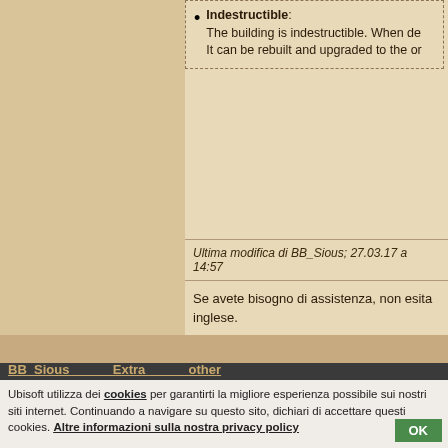Indestructible: The building is indestructible. When de... It can be rebuilt and upgraded to the or...
Ultima modifica di BB_Sious; 27.03.17 a 14:57
Se avete bisogno di assistenza, non esita... inglese.
27.03.17 12:12
BB_Sious... Extra... other...
Ubisoft utilizza dei cookies per garantirti la migliore esperienza possibile sui nostri siti internet. Continuando a navigare su questo sito, dichiari di accettare questi cookies. Altre informazioni sulla nostra privacy policy